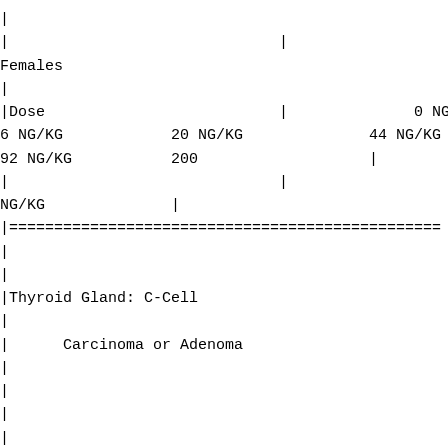| Dose | 0 NG/KG | 6 NG/KG | 20 NG/KG | 44 NG/KG | 92 NG/KG | 200 | NG/KG |
| --- | --- | --- | --- | --- | --- | --- | --- |
Females
|========================...
Thyroid Gland: C-Cell
Carcinoma or Adenoma